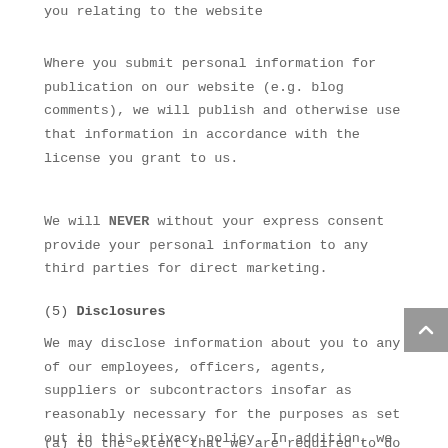you relating to the website
Where you submit personal information for publication on our website (e.g. blog comments), we will publish and otherwise use that information in accordance with the license you grant to us.
We will NEVER without your express consent provide your personal information to any third parties for direct marketing.
(5) Disclosures
We may disclose information about you to any of our employees, officers, agents, suppliers or subcontractors insofar as reasonably necessary for the purposes as set out in this privacy policy. In addition, we may disclose your personal information:
(a) to the extent that we are required to do so by law;